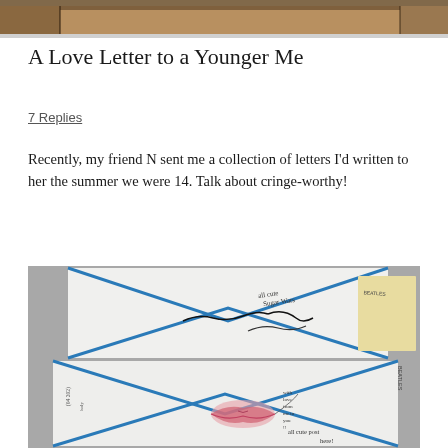[Figure (photo): Top portion of a photo showing what appears to be a wooden table or surface, partially cropped]
A Love Letter to a Younger Me
7 Replies
Recently, my friend N sent me a collection of letters I'd written to her the summer we were 14. Talk about cringe-worthy!
[Figure (photo): Photo of handwritten letters/envelopes with blue diamond/chevron designs, featuring signatures, handwritten text including 'all cute', 'Sugar Wars', 'with love from me to you', 'all cute post here!', and a drawing of lips in pink/red. Also visible is text reading 'BEATLES'.]